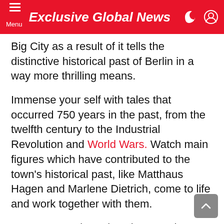Menu | Exclusive Global News
Big City as a result of it tells the distinctive historical past of Berlin in a way more thrilling means.
Immense your self with tales that occurred 750 years in the past, from the twelfth century to the Industrial Revolution and World Wars. Watch main figures which have contributed to the town's historical past, like Matthaus Hagen and Marlene Dietrich, come to life and work together with them.
Famous vacationer locations, such because the Brandenburg Gate and the Reichstag, are included on this miniature world, with distinctive results to thrill you.